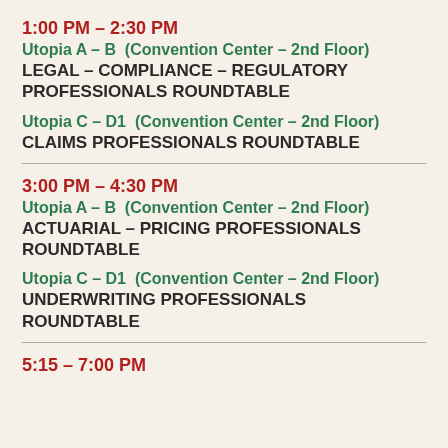1:00 PM – 2:30 PM
Utopia A – B  (Convention Center – 2nd Floor)
LEGAL – COMPLIANCE – REGULATORY PROFESSIONALS ROUNDTABLE
Utopia C – D1  (Convention Center – 2nd Floor)
CLAIMS PROFESSIONALS ROUNDTABLE
3:00 PM – 4:30 PM
Utopia A – B  (Convention Center – 2nd Floor)
ACTUARIAL – PRICING PROFESSIONALS ROUNDTABLE
Utopia C – D1  (Convention Center – 2nd Floor)
UNDERWRITING PROFESSIONALS ROUNDTABLE
5:15 – 7:00 PM